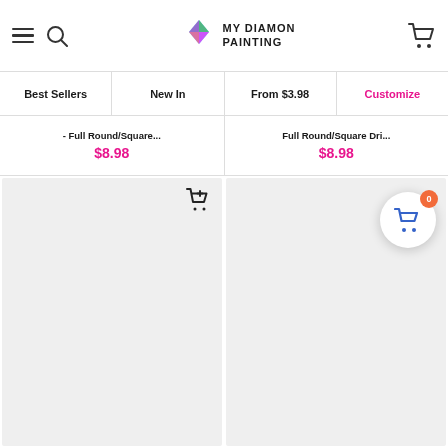My Diamond Painting — header with hamburger menu, search, logo, and cart
Best Sellers | New In | From $3.98 | Customize
- Full Round/Square...   $8.98
Full Round/Square Dri...   $8.98
[Figure (screenshot): Two product image cards with light gray placeholder backgrounds. Left card has an add-to-cart icon in the top right. Right card has a cart popup overlay showing badge count 0.]